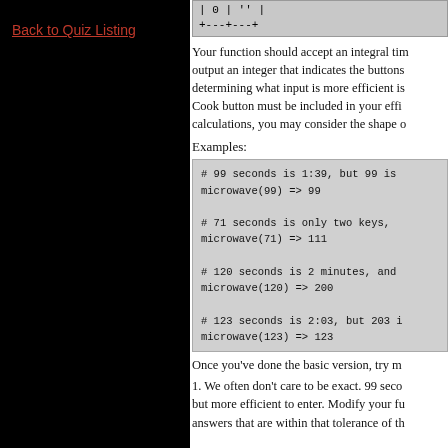Back to Quiz Listing
[Figure (screenshot): Code box showing ASCII table fragment: | 0 | '' | and +---+---+]
Your function should accept an integral ti... output an integer that indicates the buttons... determining what input is more efficient is... Cook button must be included in your effi... calculations, you may consider the shape o...
Examples:
[Figure (screenshot): Code examples box showing: # 99 seconds is 1:39, but 99 is... microwave(99) => 99 / # 71 seconds is only two keys, b... microwave(71) => 111 / # 120 seconds is 2 minutes, and... microwave(120) => 200 / # 123 seconds is 2:03, but 203 i... microwave(123) => 123]
Once you've done the basic version, try m...
1. We often don't care to be exact. 99 seco... but more efficient to enter. Modify your fu... answers that are within that tolerance of th...